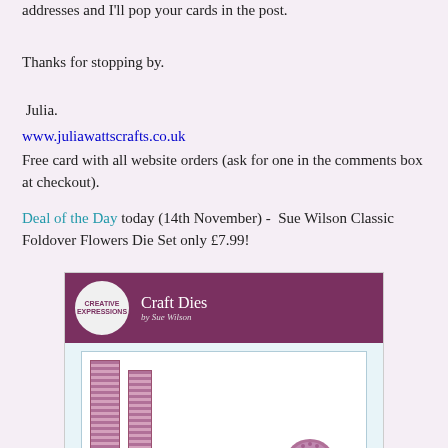addresses and I'll pop your cards in the post.
Thanks for stopping by.
Julia.
www.juliawattscrafts.co.uk
Free card with all website orders (ask for one in the comments box at checkout).
Deal of the Day today (14th November) -  Sue Wilson Classic Foldover Flowers Die Set only £7.99!
[Figure (photo): Product image of Creative Expressions Craft Dies by Sue Wilson - showing two purple/mauve rectangular die strips and a flower-shaped die element, on a light blue background with a purple header bar showing the brand logo and 'Craft Dies by Sue Wilson' text]